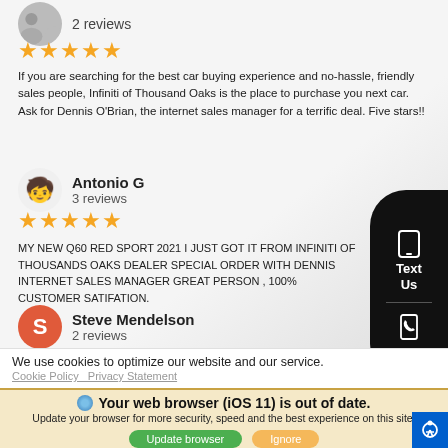[Figure (photo): Partial view of a reviewer avatar (person photo) at top left, partially cropped]
2 reviews
[Figure (other): 5 gold star rating icons]
If you are searching for the best car buying experience and no-hassle, friendly sales people, Infiniti of Thousand Oaks is the place to purchase you next car. Ask for Dennis O'Brian, the internet sales manager for a terrific deal. Five stars!!
[Figure (photo): Reviewer avatar emoji face for Antonio G]
Antonio G
3 reviews
[Figure (other): 5 gold star rating icons]
MY NEW Q60 RED SPORT 2021 I JUST GOT IT FROM INFINITI OF THOUSAND OAKS DEALER SPECIAL ORDER WITH DENNIS INTERNET SALES MANAGER GREAT PERSON , 100% CUSTOMER SATIFATION.
[Figure (photo): Reviewer avatar with letter S (red circle) for Steve Mendelson]
Steve Mendelson
2 reviews
[Figure (screenshot): Text/phone side widget (black rounded rectangle) with phone icon, Text Us label, divider, and call icon]
We use cookies to optimize our website and our service.
Cookie Policy   Privacy Statement
Your web browser (iOS 11) is out of date. Update your browser for more security, speed and the best experience on this site.
Update browser
Ignore